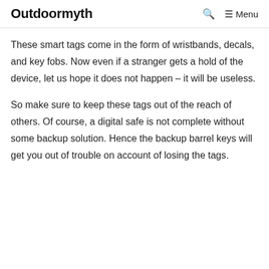Outdoormyth   🔍   ☰ Menu
These smart tags come in the form of wristbands, decals, and key fobs. Now even if a stranger gets a hold of the device, let us hope it does not happen – it will be useless.
So make sure to keep these tags out of the reach of others. Of course, a digital safe is not complete without some backup solution. Hence the backup barrel keys will get you out of trouble on account of losing the tags.